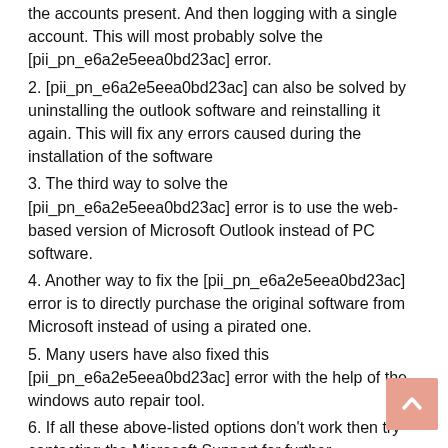the accounts present. And then logging with a single account. This will most probably solve the [pii_pn_e6a2e5eea0bd23ac] error.
2. [pii_pn_e6a2e5eea0bd23ac] can also be solved by uninstalling the outlook software and reinstalling it again. This will fix any errors caused during the installation of the software
3. The third way to solve the [pii_pn_e6a2e5eea0bd23ac] error is to use the web-based version of Microsoft Outlook instead of PC software.
4. Another way to fix the [pii_pn_e6a2e5eea0bd23ac] error is to directly purchase the original software from Microsoft instead of using a pirated one.
5. Many users have also fixed this [pii_pn_e6a2e5eea0bd23ac] error with the help of the windows auto repair tool.
6. If all these above-listed options don't work then try contacting the Microsoft Support for further instructions.
[Figure (other): Red close button with X CLOSE label]
Reasons for [pii_pn_e6a2e5eea0bd23ac] OutLook Error?
Some text at the bottom of the page (partially visible)
[Figure (other): Salmon/pink scroll-to-top button with upward arrow, positioned bottom right]